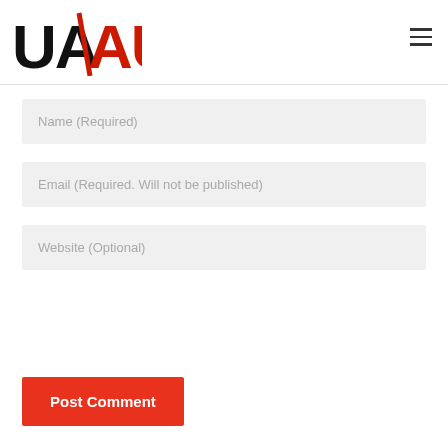[Figure (logo): UA/AU logo with black UA and red AU text separated by a red diagonal slash]
Name (Required)
Email (Required. Will not be published)
Website (Optional)
Post Comment